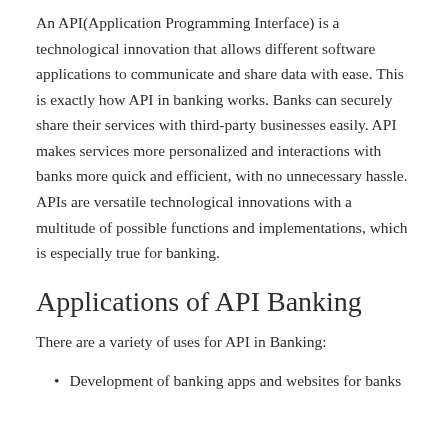An API(Application Programming Interface) is a technological innovation that allows different software applications to communicate and share data with ease. This is exactly how API in banking works. Banks can securely share their services with third-party businesses easily. API makes services more personalized and interactions with banks more quick and efficient, with no unnecessary hassle. APIs are versatile technological innovations with a multitude of possible functions and implementations, which is especially true for banking.
Applications of API Banking
There are a variety of uses for API in Banking:
Development of banking apps and websites for banks